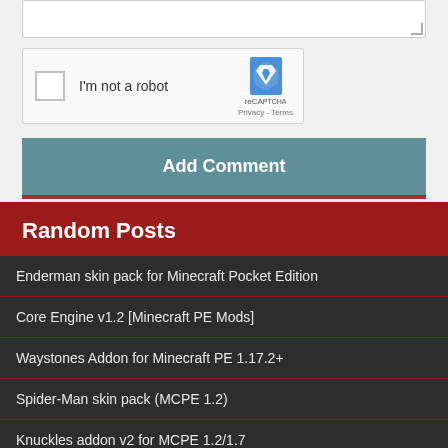[Figure (screenshot): reCAPTCHA widget with checkbox and 'I'm not a robot' text, showing reCAPTCHA logo, Privacy and Terms links]
Add Comment
Random Posts
Enderman skin pack for Minecraft Pocket Edition
Core Engine v1.2 [Minecraft PE Mods]
Waystones Addon for Minecraft PE 1.17.2+
Spider-Man skin pack (MCPE 1.2)
Knuckles addon v2 for MCPE 1.2/1.7
Mining/treasure Addon for MCPE 1.12/1.17